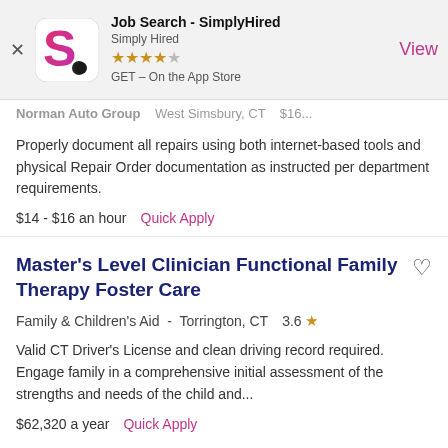[Figure (screenshot): App store banner for Job Search - SimplyHired app with logo, star rating, and View button]
Properly document all repairs using both internet-based tools and physical Repair Order documentation as instructed per department requirements.
$14 - $16 an hour  Quick Apply
Master's Level Clinician Functional Family Therapy Foster Care
Family & Children's Aid -  Torrington, CT    3.6 ★
Valid CT Driver's License and clean driving record required. Engage family in a comprehensive initial assessment of the strengths and needs of the child and...
$62,320 a year  Quick Apply
Psychologist & Clinical Social Worker